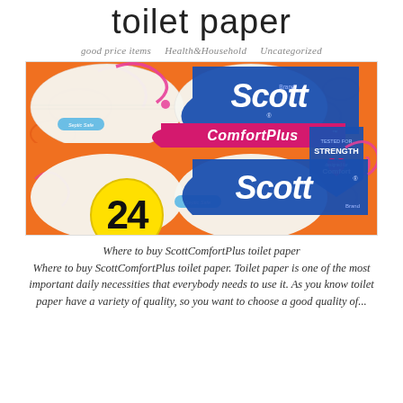toilet paper
good price items   Health&Household   Uncategorized
[Figure (photo): Scott ComfortPlus toilet paper packages (24-count), orange packaging with blue Scott brand logo and Comfort Plus branding, showing multiple rolls in stacked arrangement]
Where to buy ScottComfortPlus toilet paper
Where to buy ScottComfortPlus toilet paper. Toilet paper is one of the most important daily necessities that everybody needs to use it.  As you know toilet paper have a variety of quality, so you want to choose a good quality of...